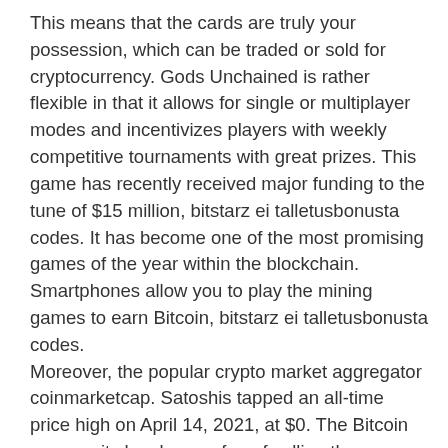This means that the cards are truly your possession, which can be traded or sold for cryptocurrency. Gods Unchained is rather flexible in that it allows for single or multiplayer modes and incentivizes players with weekly competitive tournaments with great prizes. This game has recently received major funding to the tune of $15 million, bitstarz ei talletusbonusta codes. It has become one of the most promising games of the year within the blockchain.
Smartphones allow you to play the mining games to earn Bitcoin, bitstarz ei talletusbonusta codes.
Moreover, the popular crypto market aggregator coinmarketcap. Satoshis tapped an all-time price high on April 14, 2021, at $0. The Bitcoin community has been a fan of calling the cryptocurrency's smallest unit a satoshi for quite some